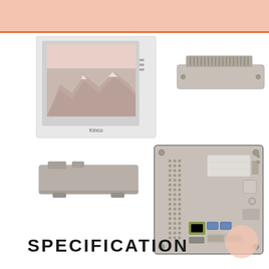[Figure (photo): Front view of Kinco HMI touchscreen panel showing a landscape image on screen with white bezel and 'Kinco' branding at bottom]
[Figure (photo): Top view of Kinco HMI panel showing ventilation slots along the top edge, gray housing]
[Figure (photo): Bottom/side view of Kinco HMI panel showing the bottom edge with mounting clips, gray housing]
[Figure (photo): Rear view of Kinco HMI panel showing back panel with ventilation holes, connectors including USB ports, Ethernet, serial ports, and a label sticker]
SPECIFICATION